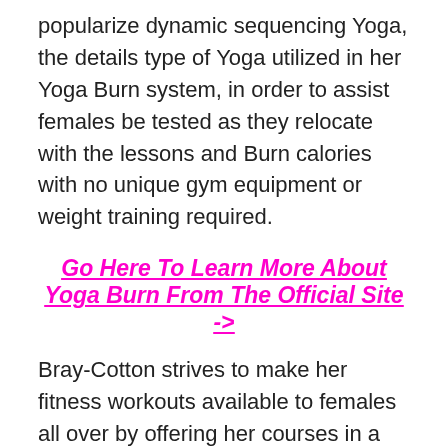popularize dynamic sequencing Yoga, the details type of Yoga utilized in her Yoga Burn system, in order to assist females be tested as they relocate with the lessons and Burn calories with no unique gym equipment or weight training required.
Go Here To Learn More About Yoga Burn From The Official Site ->
Bray-Cotton strives to make her fitness workouts available to females all over by offering her courses in a residence exercise version. She is likewise responsible for developing the Yoga Burn Instagram community where females can discover physical fitness suggestions and assistance during their health and fitness journeys with the